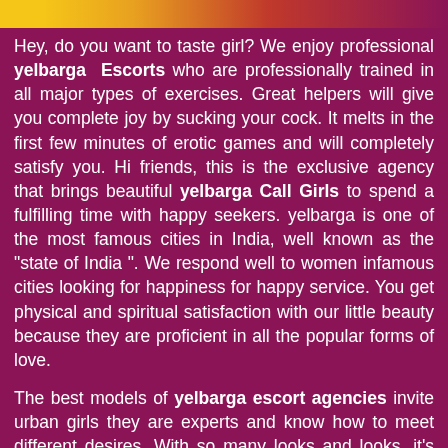[Figure (photo): Colorful image strip at top of page showing partial figures]
Hey, do you want to taste girl? We enjoy professional yelbarga Escorts who are professionally trained in all major types of exercises. Great helpers will give you complete joy by sucking your cock. It melts in the first few minutes of erotic games and will completely satisfy you. Hi friends, this is the exclusive agency that brings beautiful yelbarga Call Girls to spend a fulfilling time with happy seekers. yelbarga is one of the most famous cities in India, well known as the "state of India ". We respond well to women infamous cities looking for happiness for happy service. You get physical and spiritual satisfaction with our little beauty because they are proficient in all the popular forms of love.
The best models of yelbarga escort agencies invite urban girls they are experts and know how to meet different desires. With so many looks and looks, it's hard to find anything more than beautiful Call Girls in yelbarga. Here you can have a moderate blow is